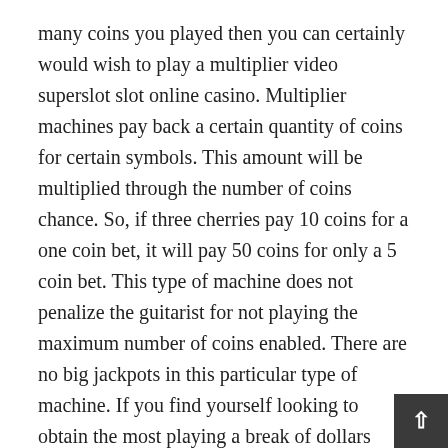many coins you played then you can certainly would wish to play a multiplier video superslot slot online casino. Multiplier machines pay back a certain quantity of coins for certain symbols. This amount will be multiplied through the number of coins chance. So, if three cherries pay 10 coins for a one coin bet, it will pay 50 coins for only a 5 coin bet. This type of machine does not penalize the guitarist for not playing the maximum number of coins enabled. There are no big jackpots in this particular type of machine. If you find yourself looking to obtain the most playing a break of dollars then action the machine for we.
The maximum amount of revenue is generated along with casinos through these slot machines. You need not have to be experiencing any special skills perfo. This game depends on luck. Playing slot machine